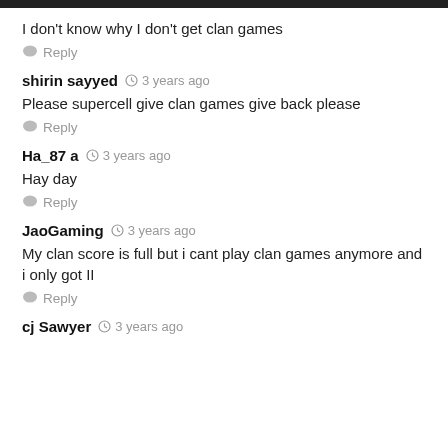I don't know why I don't get clan games
Reply
shirin sayyed  3 years ago
Please supercell give clan games give back please
Reply
Ha_87 a  3 years ago
Hay day
Reply
JaoGaming  3 years ago
My clan score is full but i cant play clan games anymore and i only got II
Reply
cj Sawyer  3 years ago